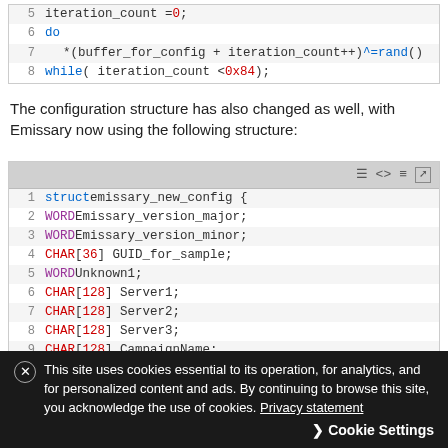[Figure (screenshot): Code block showing lines 5-8: iteration_count = 0; do *(buffer_for_config + iteration_count++) ^= rand(); while ( iteration_count < 0x84 );]
The configuration structure has also changed as well, with Emissary now using the following structure:
[Figure (screenshot): Code block showing struct emissary_new_config { with fields WORD Emissary_version_major; WORD Emissary_version_minor; CHAR[36] GUID_for_sample; WORD Unknown1; CHAR[128] Server1; CHAR[128] Server2; CHAR[128] Server3; CHAR[128] CampaignName; CHAR[550] Unknown2; WORD Delay_interval_seconds;]
This site uses cookies essential to its operation, for analytics, and for personalized content and ads. By continuing to browse this site, you acknowledge the use of cookies. Privacy statement